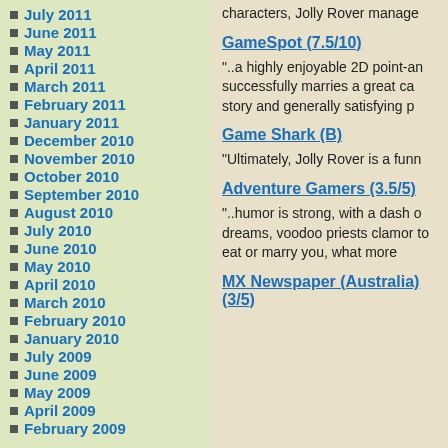July 2011
June 2011
May 2011
April 2011
March 2011
February 2011
January 2011
December 2010
November 2010
October 2010
September 2010
August 2010
July 2010
June 2010
May 2010
April 2010
March 2010
February 2010
January 2010
July 2009
June 2009
May 2009
April 2009
February 2009
characters, Jolly Rover manage
GameSpot (7.5/10)
"..a highly enjoyable 2D point-an successfully marries a great ca story and generally satisfying p
Game Shark (B)
"Ultimately, Jolly Rover is a funn
Adventure Gamers (3.5/5)
"..humor is strong, with a dash o dreams, voodoo priests clamor to eat or marry you, what more
MX Newspaper (Australia) (3/5)